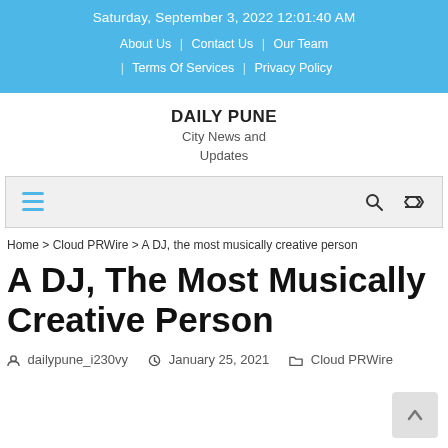Saturday, September 3, 2022 12:01:40 AM | About Us | Contact Us | Our Team | Terms Of Services | Privacy Policy
DAILY PUNE
City News and Updates
Home > Cloud PRWire > A DJ, the most musically creative person
A DJ, The Most Musically Creative Person
dailypune_i230vy   January 25, 2021   Cloud PRWire